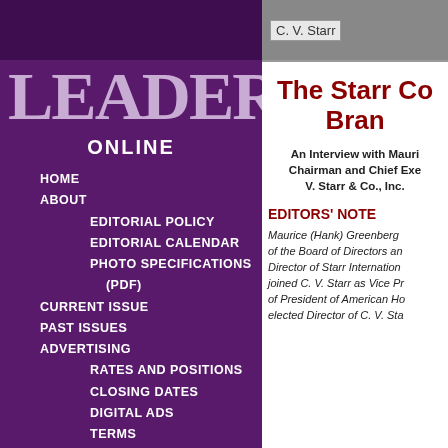LEADERS
ONLINE
HOME
ABOUT
EDITORIAL POLICY
EDITORIAL CALENDAR
PHOTO SPECIFICATIONS (PDF)
CURRENT ISSUE
PAST ISSUES
ADVERTISING
RATES AND POSITIONS
CLOSING DATES
DIGITAL ADS
TERMS
CONTACT US
REPRINTS (PDF)
BPA(PDF)
[Figure (logo): C. V. Starr logo placeholder image]
The Starr Co... Bran...
An Interview with Mauri... Chairman and Chief Exe... V. Starr & Co., Inc.
EDITORS' NOTE
Maurice (Hank) Greenberg ... of the Board of Directors an... Director of Starr Internation... joined C. V. Starr as Vice Pr... of President of American Ho... elected Director of C. V. Sta...